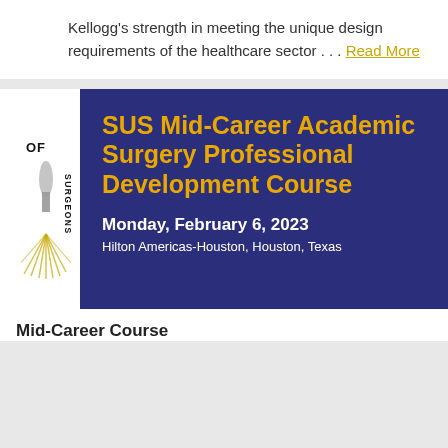Kellogg's strength in meeting the unique design requirements of the healthcare sector . . . Read More
[Figure (illustration): SUS Mid-Career Academic Surgery Professional Development Course event banner on dark blue background with gold title text, date Monday February 6 2023 and location Hilton Americas-Houston, Houston, Texas. Includes partial Society of Surgeons logo on left side.]
Mid-Career Course